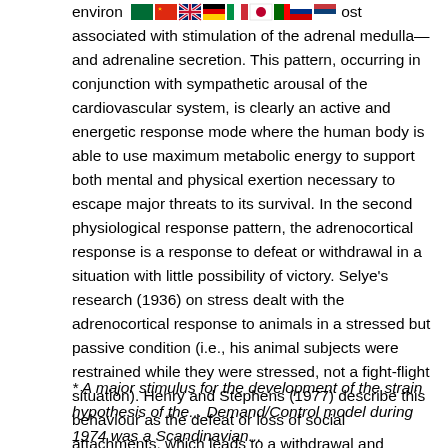environ... most associated with stimulation of the adrenal medulla—and adrenaline secretion. This pattern, occurring in conjunction with sympathetic arousal of the cardiovascular system, is clearly an active and energetic response mode where the human body is able to use maximum metabolic energy to support both mental and physical exertion necessary to escape major threats to its survival. In the second physiological response pattern, the adrenocortical response is a response to defeat or withdrawal in a situation with little possibility of victory. Selye's research (1936) on stress dealt with the adrenocortical response to animals in a stressed but passive condition (i.e., his animal subjects were restrained while they were stressed, not a fight-flight situation). Henry and Stephens (1977) describe this behaviour as the defeat or loss of social attachments, which leads to a withdrawal and submissiveness in social interactions.
* A major stimulus for the development of the strain hypothesis of the... Demand/Control model during 1974 was a Scandinavian...